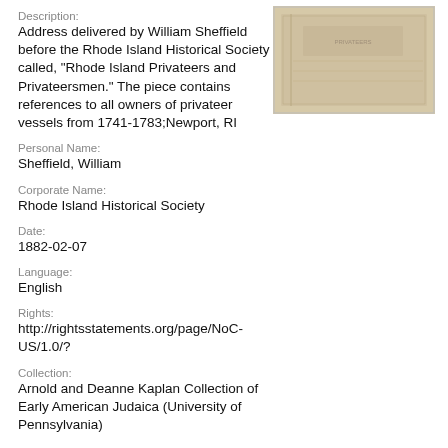Description:
Address delivered by William Sheffield before the Rhode Island Historical Society called, "Rhode Island Privateers and Privateersmen." The piece contains references to all owners of privateer vessels from 1741-1783;Newport, RI
[Figure (photo): Photograph of a cream/tan colored book cover]
Personal Name:
Sheffield, William
Corporate Name:
Rhode Island Historical Society
Date:
1882-02-07
Language:
English
Rights:
http://rightsstatements.org/page/NoC-US/1.0/?
Collection:
Arnold and Deanne Kaplan Collection of Early American Judaica (University of Pennsylvania)